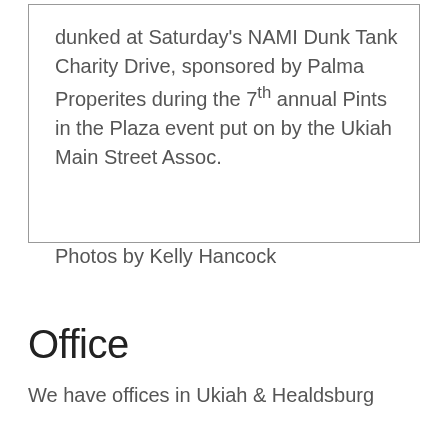dunked at Saturday's NAMI Dunk Tank Charity Drive, sponsored by Palma Properites during the 7th annual Pints in the Plaza event put on by the Ukiah Main Street Assoc.

Photos by Kelly Hancock
Office
We have offices in Ukiah & Healdsburg